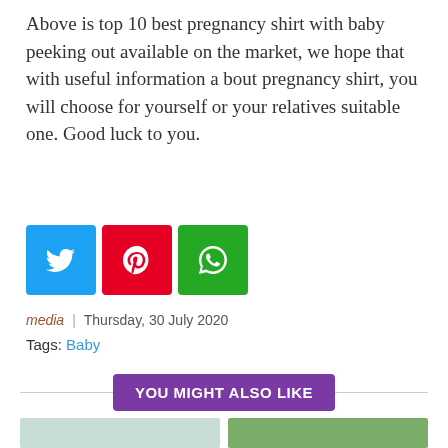Above is top 10 best pregnancy shirt with baby peeking out available on the market, we hope that with useful information a bout pregnancy shirt, you will choose for yourself or your relatives suitable one. Good luck to you.
[Figure (other): Social share buttons: Twitter (blue), Pinterest (red), WhatsApp (green)]
media | Thursday, 30 July 2020
Tags: Baby
YOU MIGHT ALSO LIKE
[Figure (photo): Photo of a baby in a white crib]
[Figure (photo): Photo of a child wearing a yellow helmet outdoors]